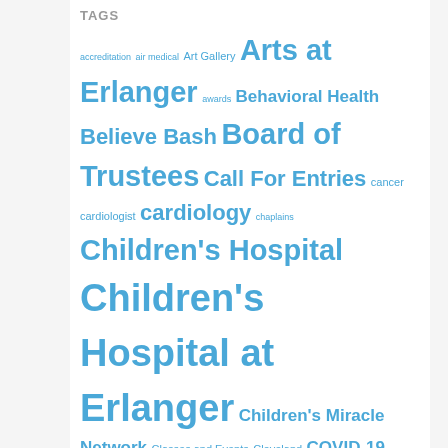TAGS
accreditation air medical Art Gallery Arts at Erlanger awards Behavioral Health Believe Bash Board of Trustees Call For Entries cancer cardiologist cardiology chaplains Children's Hospital Children's Hospital at Erlanger Children's Miracle Network Classes and Events Cleveland COVID-19 DAISY Awards DAISY Foundation Dinner of Distinction Donate Life donation Dr. Arslan Kahloon Employee Awards Employee Recognition Erlanger Baroness Erlanger Bledsoe Hospital Erlanger East Erlanger East Hospital Erlanger Employee Spotlight Awards Erlanger Express Care Erlanger Foundation Erlanger Foundations Erlanger Gastroenterology Erlanger Health System Erlanger Health System Foundation Erlanger Heart and Lung Institute Erlanger Hospital Authority Board Erlanger Neuroscience Institue Erlanger News Erlanger North Erlanger Primary Care Erlanger Western Carolina Hospital